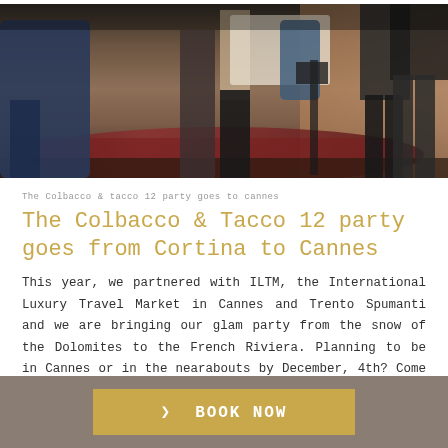[Figure (photo): Indoor party or social event scene showing people standing, with a decorative rug on the floor and warm ambient lighting. Partial figures visible, legs and lower bodies of attendees in a venue setting.]
The Colbacco & tacco 12 party goes to cannes
The Colbacco & Tacco 12 party goes from Cortina to Cannes
This year, we partnered with ILTM, the International Luxury Travel Market in Cannes and Trento Spumanti and we are bringing our glam party from the snow of the Dolomites to the French Riviera. Planning to be in Cannes or in the nearabouts by December, 4th? Come and
❯ BOOK NOW